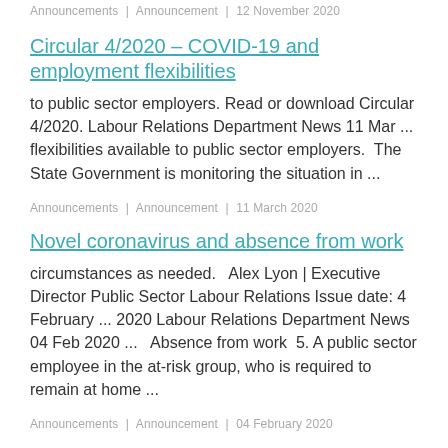Announcements | Announcement | 12 November 2020
Circular 4/2020 – COVID-19 and employment flexibilities
to public sector employers. Read or download Circular 4/2020. Labour Relations Department News 11 Mar ... flexibilities available to public sector employers.  The State Government is monitoring the situation in ...
Announcements | Announcement | 11 March 2020
Novel coronavirus and absence from work
circumstances as needed.   Alex Lyon | Executive Director Public Sector Labour Relations Issue date: 4 February ... 2020 Labour Relations Department News 04 Feb 2020 ...  Absence from work  5. A public sector employee in the at-risk group, who is required to remain at home ...
Announcements | Announcement | 04 February 2020